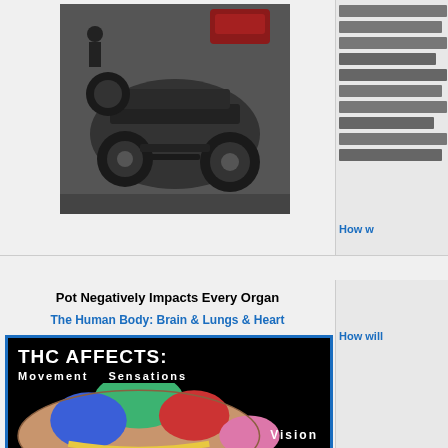[Figure (photo): Black and white photo of an overturned car (rollover accident), viewed from above. A red car is visible in the background.]
How w
Pot Negatively Impacts Every Organ
The Human Body:  Brain & Lungs & Heart
[Figure (infographic): THC AFFECTS: Movement Sensations - colorful brain diagram on black background showing different brain regions highlighted in green, blue, and red. Text shows 'Vision' at bottom right.]
How will